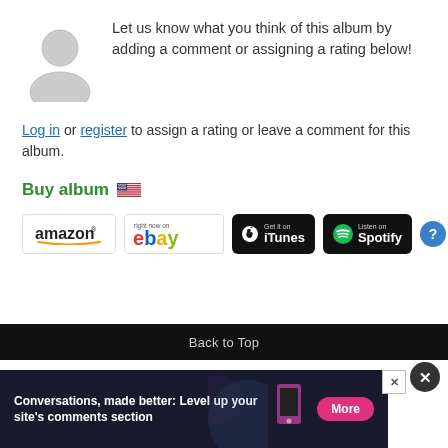[Figure (illustration): Grey silhouette avatar icon of a person (head and shoulders)]
Let us know what you think of this album by adding a comment or assigning a rating below!
Log in or register to assign a rating or leave a comment for this album.
Buy album 🇺🇸
[Figure (logo): Amazon logo badge]
[Figure (logo): eBay 'right now on' logo badge]
[Figure (logo): iTunes 'Get it on' badge (black)]
[Figure (logo): Spotify 'Listen on' badge (black with green Spotify logo)]
Back to Top
[Figure (infographic): Advertisement banner: 'Conversations, made better: Level up your site's comments section' with a pink 'More' button]